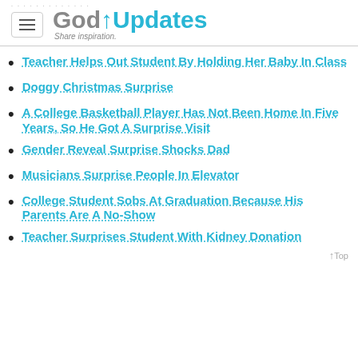GodUpdates — Share inspiration.
Teacher Helps Out Student By Holding Her Baby In Class
Doggy Christmas Surprise
A College Basketball Player Has Not Been Home In Five Years, So He Got A Surprise Visit
Gender Reveal Surprise Shocks Dad
Musicians Surprise People In Elevator
College Student Sobs At Graduation Because His Parents Are A No-Show
Teacher Surprises Student With Kidney Donation